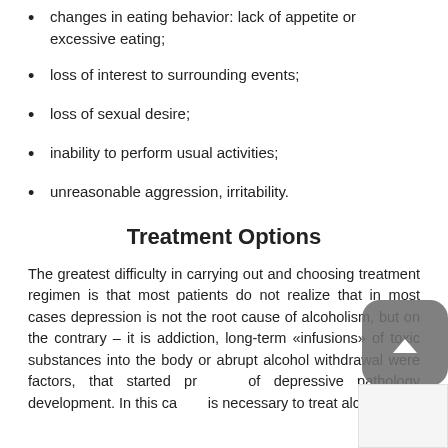changes in eating behavior: lack of appetite or excessive eating;
loss of interest to surrounding events;
loss of sexual desire;
inability to perform usual activities;
unreasonable aggression, irritability.
Treatment Options
The greatest difficulty in carrying out and choosing treatment regimen is that most patients do not realize that in most cases depression is not the root cause of alcoholism, but on the contrary – it is addiction, long-term «infusions» of toxic substances into the body or abrupt alcohol withdrawal were factors, that started process of depressive pathology development. In this case it is necessary to treat alcoholism.